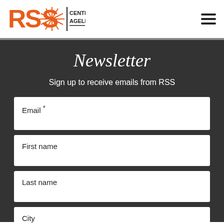[Figure (logo): RSS Center for Ageless Living logo with orange RSS letters and sunburst icon, plus a hamburger menu icon on the right]
Newsletter
Sign up to receive emails from RSS
Email *
First name
Last name
City